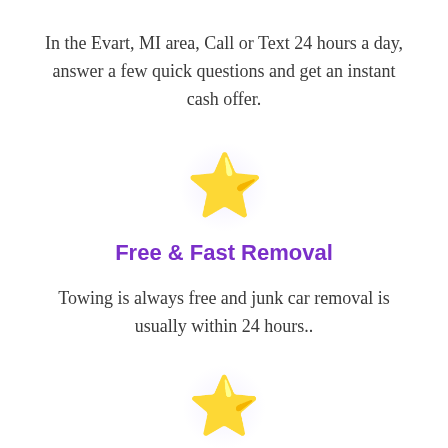In the Evart, MI area, Call or Text 24 hours a day, answer a few quick questions and get an instant cash offer.
[Figure (illustration): Gold star emoji with glow halo (top)]
Free & Fast Removal
Towing is always free and junk car removal is usually within 24 hours..
[Figure (illustration): Gold star emoji with glow halo (bottom)]